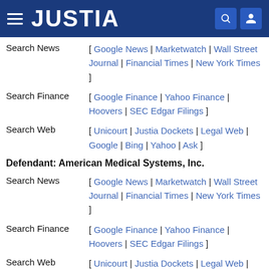JUSTIA
Search News [ Google News | Marketwatch | Wall Street Journal | Financial Times | New York Times ]
Search Finance [ Google Finance | Yahoo Finance | Hoovers | SEC Edgar Filings ]
Search Web [ Unicourt | Justia Dockets | Legal Web | Google | Bing | Yahoo | Ask ]
Defendant: American Medical Systems, Inc.
Search News [ Google News | Marketwatch | Wall Street Journal | Financial Times | New York Times ]
Search Finance [ Google Finance | Yahoo Finance | Hoovers | SEC Edgar Filings ]
Search Web [ Unicourt | Justia Dockets | Legal Web | Google | Bing | Yahoo | Ask ]